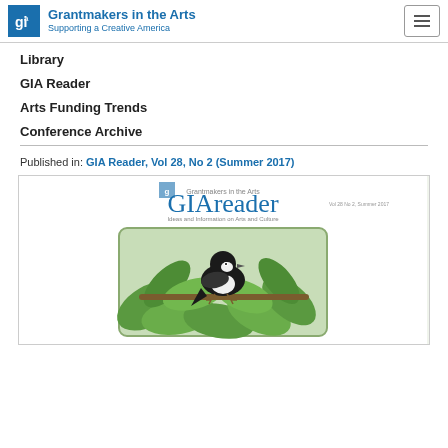Grantmakers in the Arts – Supporting a Creative America
Library
GIA Reader
Arts Funding Trends
Conference Archive
Published in: GIA Reader, Vol 28, No 2 (Summer 2017)
[Figure (illustration): Cover of GIA Reader magazine Vol 28 No 2 Summer 2017, showing a black and white bird perched among green leaves, with the masthead 'GIAreader – Grantmakers in the Arts – Ideas and Information on Arts and Culture']